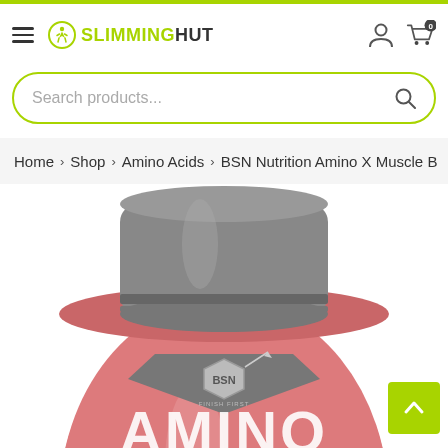SlimmingHut website header with logo, hamburger menu, user icon, and cart icon (0 items)
Search products...
Home > Shop > Amino Acids > BSN Nutrition Amino X Muscle B
[Figure (photo): BSN Nutrition Amino X supplement container, pink/red with grey lid, showing BSN logo and partial text 'AMINO' at the bottom. Product partially cropped.]